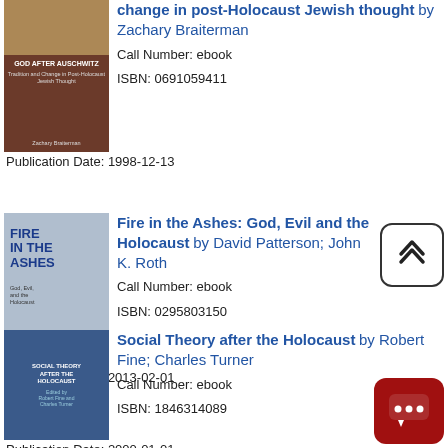[Figure (illustration): Book cover of 'God after Auschwitz' with dark brown background and gold/beige imagery at top]
(God after Auschwitz): change in post-Holocaust Jewish thought by Zachary Braiterman
Call Number: ebook
ISBN: 0691059411
Publication Date: 1998-12-13
[Figure (illustration): Book cover of 'Fire in the Ashes: God, Evil and the Holocaust' with gray aerial map background and blue bold title text]
Fire in the Ashes: God, Evil and the Holocaust by David Patterson; John K. Roth
Call Number: ebook
ISBN: 0295803150
Publication Date: 2013-02-01
[Figure (illustration): Book cover of 'Social Theory after the Holocaust' with blue cover]
Social Theory after the Holocaust by Robert Fine; Charles Turner
Call Number: ebook
ISBN: 1846314089
Publication Date: 2000-01-01